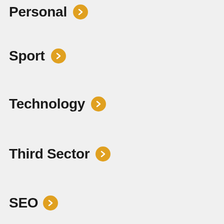Personal
Sport
Technology
Third Sector
SEO
PPC
Exp
Serv
Work
This website uses cookies to ensure you get the best experience on our website.
Learn more
Got it